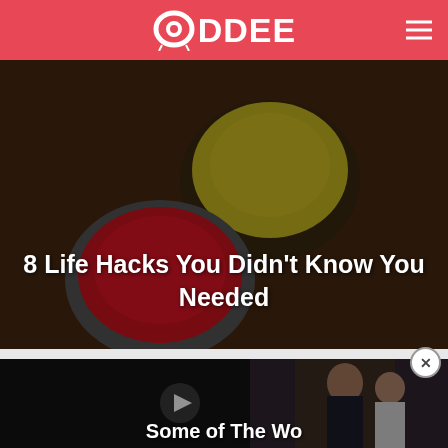ODDEE
[Figure (photo): Dark background photo of two open paint/spice tins — one with yellow powder and one with red — on a furry surface, with overlay text '8 Life Hacks You Didn't Know You Needed']
8 Life Hacks You Didn't Know You Needed
[Figure (photo): Dark card with a woman and child photo on the right half, play button overlay, partially visible title text 'Some of The Wo...' at the bottom]
Some of The Wo...